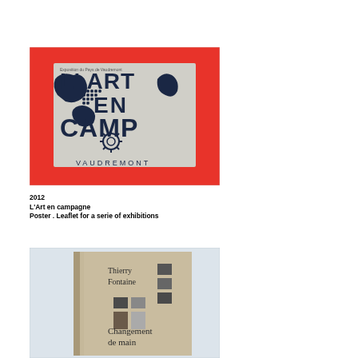[Figure (photo): Photo of a poster titled 'L'Art en Campagne' featuring a red and white graphic with a map-like illustration, bold blue text reading 'L'ART EN CAMP...' and the word 'VAUDREMONT' at the bottom]
2012
L'Art en campagne
Poster . Leaflet for a serie of exhibitions
[Figure (photo): Photo of a book cover for 'Changement de main' by Thierry Fontaine, beige/kraft paper cover with black text and small photographic images arranged in a grid]